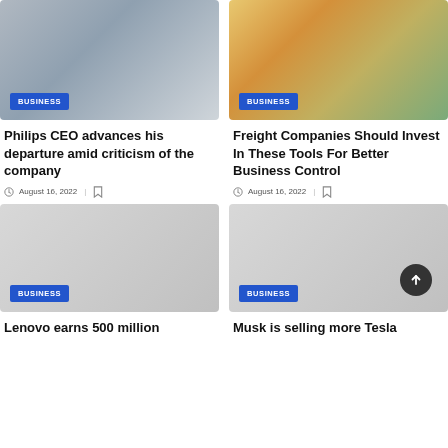[Figure (photo): Philips CEO at a presentation with Philips logo visible]
[Figure (photo): Stack of colorful freight shipping containers]
Philips CEO advances his departure amid criticism of the company
August 16, 2022
Freight Companies Should Invest In These Tools For Better Business Control
August 16, 2022
[Figure (photo): Lenovo article image placeholder]
[Figure (photo): Musk/Tesla article image placeholder]
Lenovo earns 500 million
Musk is selling more Tesla